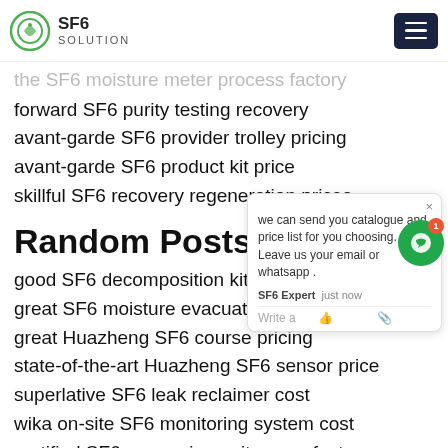SF6 SOLUTION
the SF6 moisture meter process factory
forward SF6 purity testing recovery
avant-garde SF6 provider trolley pricing
avant-garde SF6 product kit price
skillful SF6 recovery regeneration prices
Random Posts:
good SF6 decomposition kit for sale
great SF6 moisture evacuation factory
great Huazheng SF6 course pricing
state-of-the-art Huazheng SF6 sensor price
superlative SF6 leak reclaimer cost
wika on-site SF6 monitoring system cost
certified SF6 measuring units manufacturers
l170r01 SF6 humidity analyzer solutions pricing